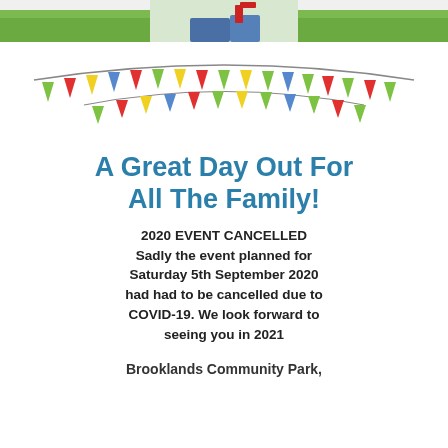[Figure (photo): Partial photo of a person in a green field/park, cropped at top of page]
[Figure (illustration): Colorful bunting/pennant flags strung in a festive arc — green, red, yellow, blue, red, green, yellow, green, blue, green, red triangular pennants]
A Great Day Out For All The Family!
2020 EVENT CANCELLED
Sadly the event planned for Saturday 5th September 2020 had had to be cancelled due to COVID-19. We look forward to seeing you in 2021
Brooklands Community Park,